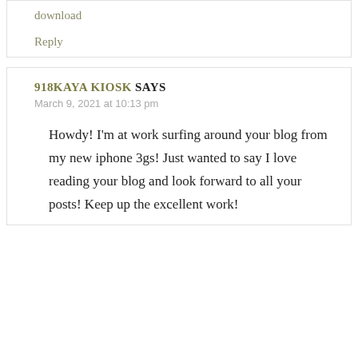download
Reply
918KAYA KIOSK SAYS
March 9, 2021 at 10:13 pm
Howdy! I'm at work surfing around your blog from my new iphone 3gs! Just wanted to say I love reading your blog and look forward to all your posts! Keep up the excellent work!